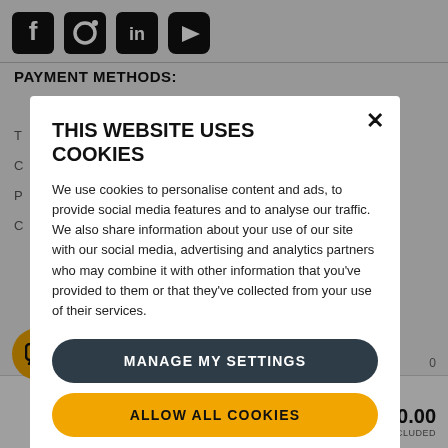[Figure (screenshot): Social media icons (Facebook, Instagram, LinkedIn, YouTube) at top of background page]
PAYMENT METHODS:
[Figure (screenshot): Cookie consent modal dialog overlaying an e-commerce page]
THIS WEBSITE USES COOKIES
We use cookies to personalise content and ads, to provide social media features and to analyse our traffic. We also share information about your use of our site with our social media, advertising and analytics partners who may combine it with other information that you've provided to them or that they've collected from your use of their services.
MANAGE MY SETTINGS
ALLOW ALL COOKIES
00 AE (4.0 Ah)
Cordless garden multi tool
£220.00
VAT INCLUDED